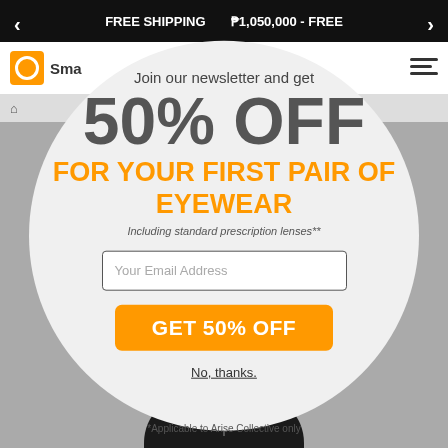FREE SHIPPING ... ₱1,050,000 - FREE
Join our newsletter and get
50% OFF
FOR YOUR FIRST PAIR OF EYEWEAR
Including standard prescription lenses**
Your Email Address
GET 50% OFF
No, thanks.
*Applicable to Arise Collective only